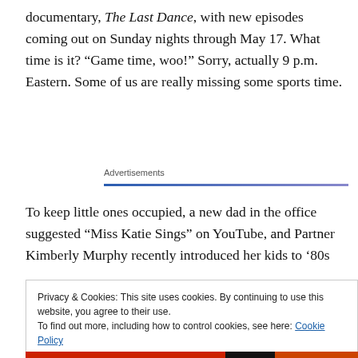documentary, The Last Dance, with new episodes coming out on Sunday nights through May 17. What time is it? “Game time, woo!” Sorry, actually 9 p.m. Eastern. Some of us are really missing some sports time.
Advertisements
To keep little ones occupied, a new dad in the office suggested “Miss Katie Sings” on YouTube, and Partner Kimberly Murphy recently introduced her kids to ‘80s
Privacy & Cookies: This site uses cookies. By continuing to use this website, you agree to their use.
To find out more, including how to control cookies, see here: Cookie Policy
Close and accept